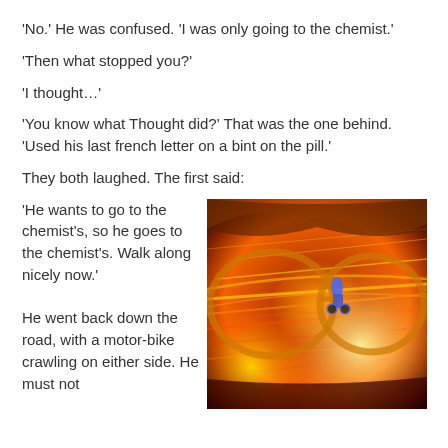'No.' He was confused. 'I was only going to the chemist.'
'Then what stopped you?'
'I thought…'
'You know what Thought did?' That was the one behind. 'Used his last french letter on a bint on the pill.'
They both laughed. The first said:
'He wants to go to the chemist's, so he goes to the chemist's. Walk along nicely now.'
He went back down the road, with a motor-bike crawling on either side. He must not
[Figure (photo): Dramatic motion-blur photograph reflected in aviator sunglasses, showing streaks of orange, yellow and red light suggesting high speed movement, with a motorbike or figure visible in the reflection.]